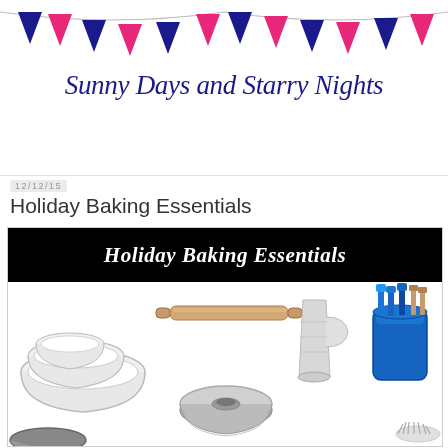[Figure (illustration): Blog header with colorful bunting/pennant flags (alternating navy blue and hot pink triangular flags on a string) above a cursive script logo reading 'Sunny Days and Starry Nights' in navy blue italic text]
12/12/15
Holiday Baking Essentials
[Figure (infographic): Holiday Baking Essentials product collage image with black header banner, showing mixing bowls (stainless with white interior), a wooden rolling pin, a bundt cake pan, a stainless steel flour sifter, a blue Le Creuset-style utensil crock with blue and wooden-handle spatulas/spoons, and partial views of additional baking items at bottom]